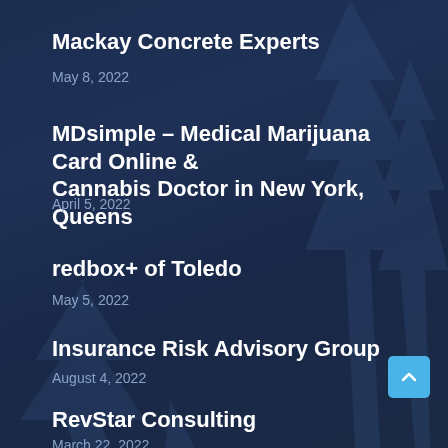Mackay Concrete Experts
May 8, 2022
MDsimple – Medical Marijuana Card Online & Cannabis Doctor in New York, Queens
April 5, 2022
redbox+ of Toledo
May 5, 2022
Insurance Risk Advisory Group
August 4, 2022
RevStar Consulting
March 22, 2022